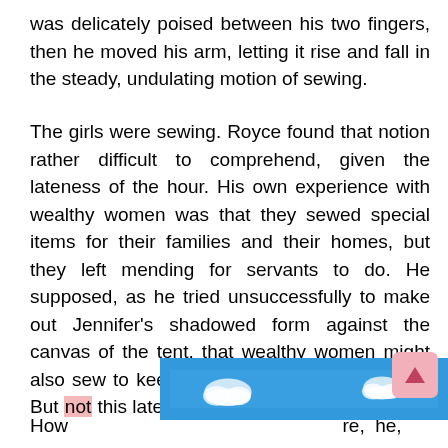was delicately poised between his two fingers, then he moved his arm, letting it rise and fall in the steady, undulating motion of sewing.
The girls were sewing. Royce found that notion rather difficult to comprehend, given the lateness of the hour. His own experience with wealthy women was that they sewed special items for their families and their homes, but they left mending for servants to do. He supposed, as he tried unsuccessfully to make out Jennifer's shadowed form against the canvas of the tent, that wealthy women might also sew to keep busy when they were bored. But not this late and by candlelight.
How [partially obscured] re, he
[Figure (illustration): Blue sky background with white cartoon clouds, partially covering the bottom of the page text. A pink scroll-to-top button with an upward arrow is overlaid on the right side.]